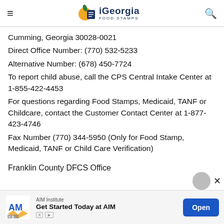iGeorgia FOOD STAMPS
Cumming, Georgia 30028-0021
Direct Office Number: (770) 532-5233
Alternative Number: (678) 450-7724
To report child abuse, call the CPS Central Intake Center at 1-855-422-4453
For questions regarding Food Stamps, Medicaid, TANF or Childcare, contact the Customer Contact Center at 1-877-423-4746
Fax Number (770) 344-5950 (Only for Food Stamp, Medicaid, TANF or Child Care Verification)
Franklin County DFCS Office
[Figure (infographic): Advertisement banner for AIM Institute: 'Get Started Today at AIM' with Open button]